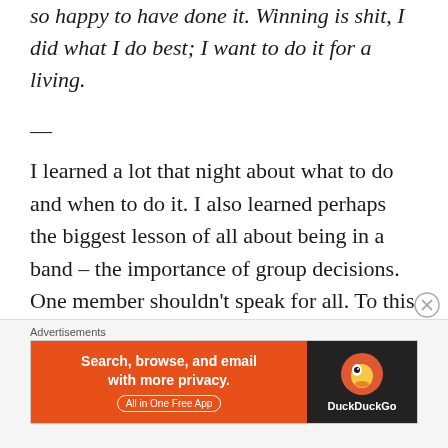so happy to have done it. Winning is shit, I did what I do best; I want to do it for a living.
—
I learned a lot that night about what to do and when to do it. I also learned perhaps the biggest lesson of all about being in a band – the importance of group decisions. One member shouldn't speak for all. To this day, I believe that had I asked what the others thought about going on last, the outcome that night might have been completely different.
Advertisements
[Figure (other): DuckDuckGo advertisement banner with orange left panel reading 'Search, browse, and email with more privacy. All in One Free App' and dark right panel with DuckDuckGo logo and name.]